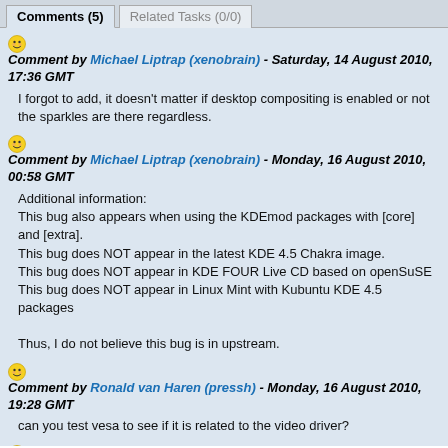Comments (5)  Related Tasks (0/0)
Comment by Michael Liptrap (xenobrain) - Saturday, 14 August 2010, 17:36 GMT
I forgot to add, it doesn't matter if desktop compositing is enabled or not the sparkles are there regardless.
Comment by Michael Liptrap (xenobrain) - Monday, 16 August 2010, 00:58 GMT
Additional information:
This bug also appears when using the KDEmod packages with [core] and [extra].
This bug does NOT appear in the latest KDE 4.5 Chakra image.
This bug does NOT appear in KDE FOUR Live CD based on openSuSE
This bug does NOT appear in Linux Mint with Kubuntu KDE 4.5 packages

Thus, I do not believe this bug is in upstream.
Comment by Ronald van Haren (pressh) - Monday, 16 August 2010, 19:28 GMT
can you test vesa to see if it is related to the video driver?
Comment by Michael Liptrap (xenobrain) - Monday, 16 August 2010, 21:01 GMT